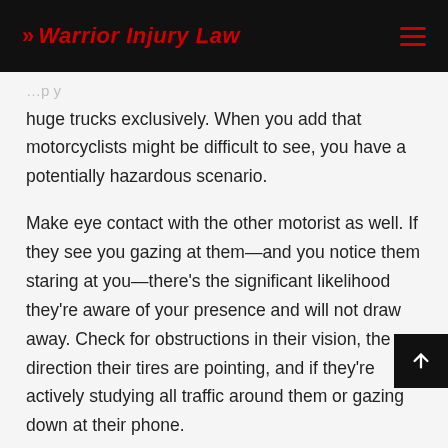>> Warrior Injury Law
huge trucks exclusively. When you add that motorcyclists might be difficult to see, you have a potentially hazardous scenario.
Make eye contact with the other motorist as well. If they see you gazing at them—and you notice them staring at you—there's the significant likelihood they're aware of your presence and will not draw away. Check for obstructions in their vision, the direction their tires are pointing, and if they're actively studying all traffic around them or gazing down at their phone.
You should be aware of what is going on around